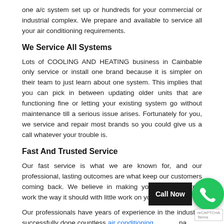one a/c system set up or hundreds for your commercial or industrial complex. We prepare and available to service all your air conditioning requirements.
We Service All Systems
Lots of COOLING AND HEATING business in Cainbable only service or install one brand because it is simpler on their team to just learn about one system. This implies that you can pick in between updating older units that are functioning fine or letting your existing system go without maintenance till a serious issue arises. Fortunately for you, we service and repair most brands so you could give us a call whatever your trouble is.
Fast And Trusted Service
Our fast service is what we are known for, and our professional, lasting outcomes are what keep our customers coming back. We believe in making your HVAC system work the way it should with little work on your part.
Our professionals have years of experience in the industry, successfully done countless air conditioning repairs for commercial, industrial and domestic systems. We offer unb… advise for free that would certainly save you money and decrease…